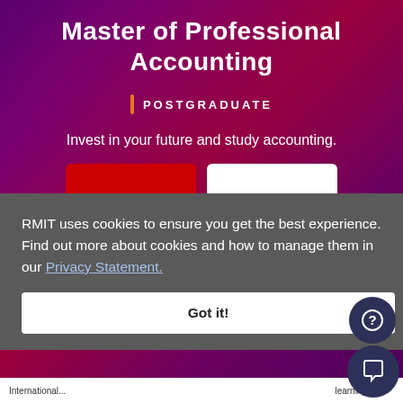Master of Professional Accounting
POSTGRADUATE
Invest in your future and study accounting.
RMIT uses cookies to ensure you get the best experience. Find out more about cookies and how to manage them in our Privacy Statement.
Got it!